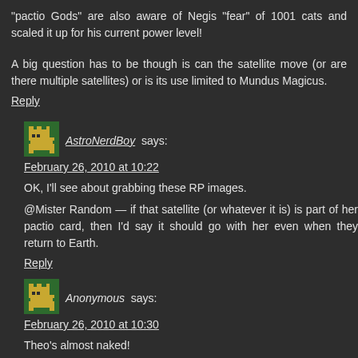“pactio Gods” are also aware of Negis “fear” of 1001 cats and scaled it up for his current power level!
A big question has to be though is can the satellite move (or are there multiple satellites) or is its use limited to Mundus Magicus.
Reply
[Figure (other): Pixel art avatar icon - green background with yellow character]
AstroNerdBoy says:
February 26, 2010 at 10:22
OK, I’ll see about grabbing these RP images.
@Mister Random — if that satellite (or whatever it is) is part of her pactio card, then I’d say it should go with her even when they return to Earth.
Reply
[Figure (other): Pixel art avatar icon - green background with yellow character]
Anonymous says:
February 26, 2010 at 10:30
Theo’s almost naked!
Reply